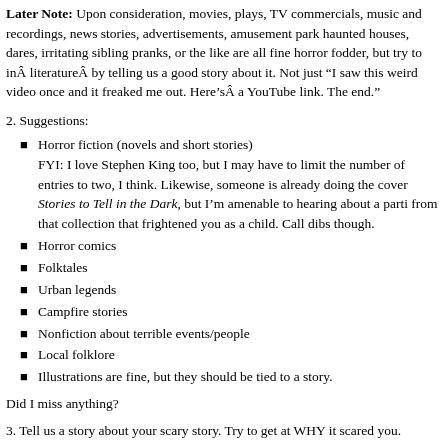Later Note: Upon consideration, movies, plays, TV commercials, music and recordings, news stories, advertisements, amusement park haunted houses, dares, irritating sibling pranks, or the like are all fine horror fodder, but try to inÂ literatureÂ by telling us a good story about it. Not just "I saw this weird video once and it freaked me out. Here'sÂ a YouTube link. The end."
2. Suggestions:
Horror fiction (novels and short stories)
FYI: I love Stephen King too, but I may have to limit the number of entries to two, I think. Likewise, someone is already doing the cover Stories to Tell in the Dark, but I'm amenable to hearing about a parti from that collection that frightened you as a child. Call dibs though.
Horror comics
Folktales
Urban legends
Campfire stories
Nonfiction about terrible events/people
Local folklore
Illustrations are fine, but they should be tied to a story.
Did I miss anything?
3. Tell us a story about your scary story. Try to get at WHY it scared you.